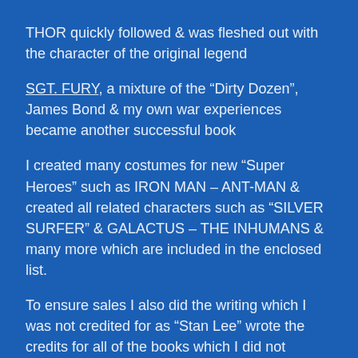THOR quickly followed & was fleshed out with the character of the original legend
SGT. FURY, a mixture of the “Dirty Dozen”, James Bond & my own war experiences became another successful book
I created many costumes for new “Super Heroes” such as IRON MAN – ANT-MAN & created all related characters such as “SILVER SURFER” & GALACTUS – THE INHUMANS & many more which are included in the enclosed list.
To ensure sales I also did the writing which I was not credited for as “Stan Lee” wrote the credits for all of the books which I did not contest because of his